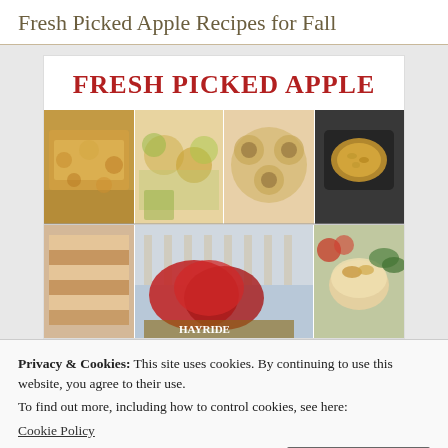Fresh Picked Apple Recipes for Fall
FRESH PICKED APPLE
[Figure (photo): Collage of apple recipes: crumble bars, apple salad drinks, apple pastries, apple soup with nuts (top row); layered bars, hayride scene with red chrysanthemums, apple crumble in bowl (bottom row)]
Privacy & Cookies: This site uses cookies. By continuing to use this website, you agree to their use.
To find out more, including how to control cookies, see here:
Cookie Policy
Close and accept
[Figure (photo): Bottom strip showing partial food images]